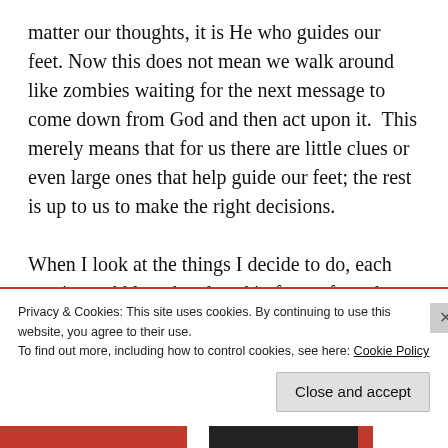matter our thoughts, it is He who guides our feet. Now this does not mean we walk around like zombies waiting for the next message to come down from God and then act upon it.  This merely means that for us there are little clues or even large ones that help guide our feet; the rest is up to us to make the right decisions.

When I look at the things I decide to do, each one is a pebble to be placed in front of me that will create the road I walk on.  Some pebbles are
Privacy & Cookies: This site uses cookies. By continuing to use this website, you agree to their use.
To find out more, including how to control cookies, see here: Cookie Policy
Close and accept